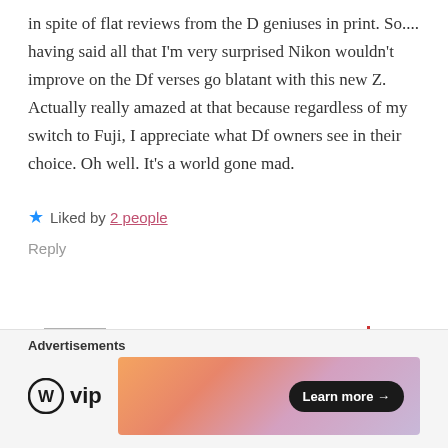in spite of flat reviews from the D geniuses in print. So.... having said all that I'm very surprised Nikon wouldn't improve on the Df verses go blatant with this new Z. Actually really amazed at that because regardless of my switch to Fuji, I appreciate what Df owners see in their choice. Oh well. It's a world gone mad.
Liked by 2 people
Reply
[Figure (photo): Partial avatar image of a commenter, cropped at bottom of visible area]
Advertisements
[Figure (logo): WordPress VIP logo with circular W icon and 'vip' text]
[Figure (illustration): Advertisement banner with gradient orange-pink-purple colors and a 'Learn more →' button]